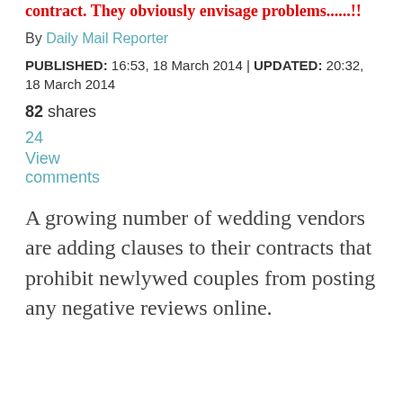contract.  They obviously envisage problems......!!
By Daily Mail Reporter
PUBLISHED: 16:53, 18 March 2014 | UPDATED: 20:32, 18 March 2014
82 shares
24
View comments
A growing number of wedding vendors are adding clauses to their contracts that prohibit newlywed couples from posting any negative reviews online.